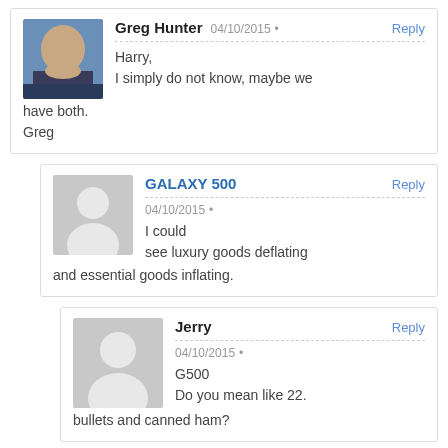Greg Hunter 04/10/2015 Reply
Harry,
I simply do not know, maybe we have both.
Greg
GALAXY 500 04/10/2015 Reply
I could see luxury goods deflating and essential goods inflating.
Jerry 04/10/2015 Reply
G500
Do you mean like 22. bullets and canned ham?